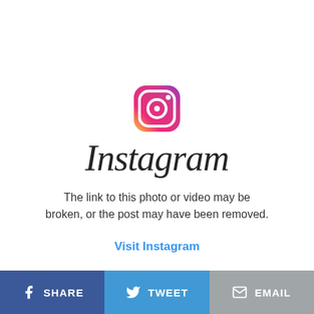[Figure (logo): Instagram camera icon logo with gradient (orange/pink/purple)]
Instagram
The link to this photo or video may be broken, or the post may have been removed.
Visit Instagram
[Figure (other): Share bar with three buttons: Facebook SHARE, Twitter TWEET, EMAIL]